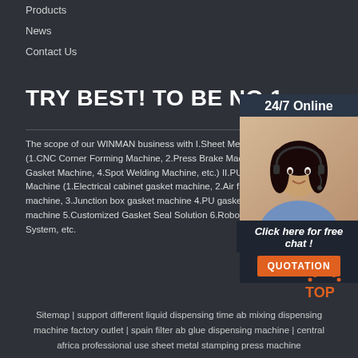Products
News
Contact Us
TRY BEST! TO BE NO.1
[Figure (photo): Customer service woman with headset, 24/7 Online badge, Click here for free chat, QUOTATION button]
The scope of our WINMAN business with I.Sheet Me (1.CNC Corner Forming Machine, 2.Press Brake Mac Gasket Machine, 4.Spot Welding Machine, etc.) II.PU Machine (1.Electrical cabinet gasket machine, 2.Air f machine, 3.Junction box gasket machine 4.PU gasket machine 5.Customized Gasket Seal Solution 6.Robot System, etc.
Sitemap | support different liquid dispensing time ab mixing dispensing machine factory outlet | spain filter ab glue dispensing machine | central africa professional use sheet metal stamping press machine